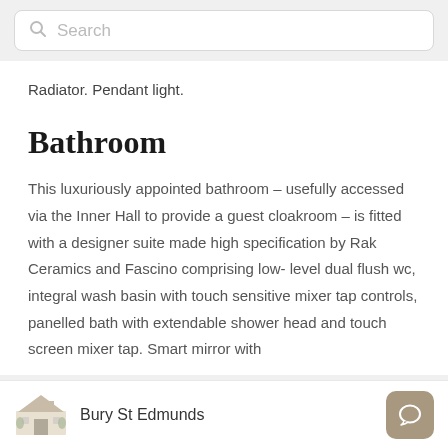Search
Radiator. Pendant light.
Bathroom
This luxuriously appointed bathroom – usefully accessed via the Inner Hall to provide a guest cloakroom – is fitted with a designer suite made high specification by Rak Ceramics and Fascino comprising low-level dual flush wc, integral wash basin with touch sensitive mixer tap controls, panelled bath with extendable shower head and touch screen mixer tap. Smart mirror with
Bury St Edmunds